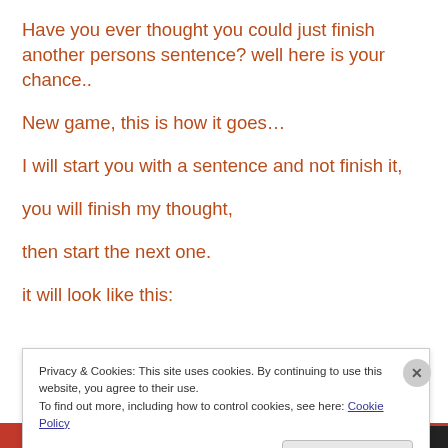Have you ever thought you could just finish another persons sentence? well here is your chance..
New game, this is how it goes…
I will start you with a sentence and not finish it,
you will finish my thought,
then start the next one.
it will look like this:
Privacy & Cookies: This site uses cookies. By continuing to use this website, you agree to their use.
To find out more, including how to control cookies, see here: Cookie Policy
Close and accept